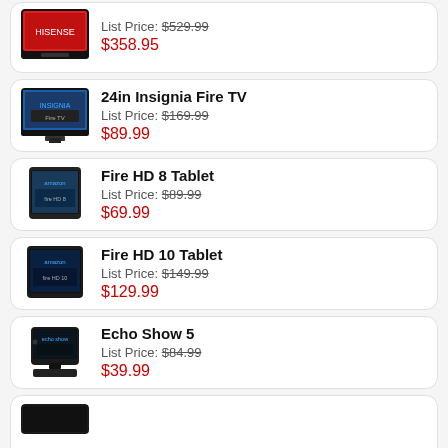List Price: $529.99 | Sale Price: $358.95
24in Insignia Fire TV | List Price: $169.99 | Sale Price: $89.99
Fire HD 8 Tablet | List Price: $89.99 | Sale Price: $69.99
Fire HD 10 Tablet | List Price: $149.99 | Sale Price: $129.99
Echo Show 5 | List Price: $84.99 | Sale Price: $39.99
(partial item cut off at bottom)